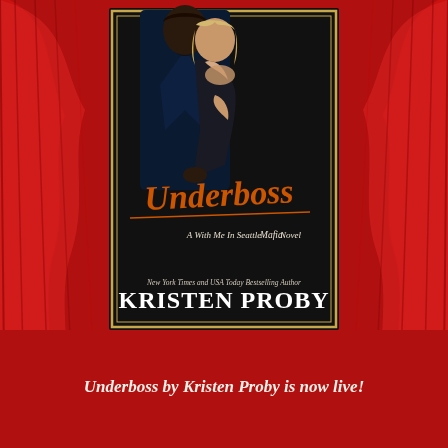[Figure (illustration): Book cover for 'Underboss' by Kristen Proby. A With Me In Seattle Mafia Novel. Dark background with a man in a dark suit embracing a woman. The title 'Underboss' is in orange script. Author name 'KRISTEN PROBY' in large white serif. New York Times and USA Today Bestselling Author subtitle. Surrounded by red theater curtains.]
Underboss by Kristen Proby is now live!